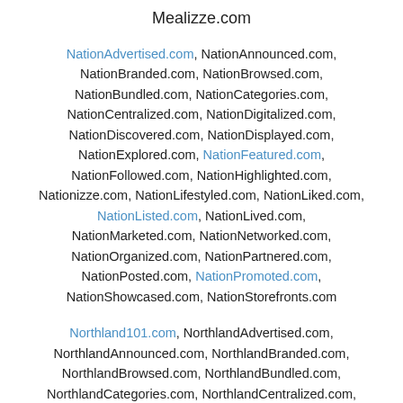Mealizze.com
NationAdvertised.com, NationAnnounced.com, NationBranded.com, NationBrowsed.com, NationBundled.com, NationCategories.com, NationCentralized.com, NationDigitalized.com, NationDiscovered.com, NationDisplayed.com, NationExplored.com, NationFeatured.com, NationFollowed.com, NationHighlighted.com, Nationizze.com, NationLifestyled.com, NationLiked.com, NationListed.com, NationLived.com, NationMarketed.com, NationNetworked.com, NationOrganized.com, NationPartnered.com, NationPosted.com, NationPromoted.com, NationShowcased.com, NationStorefronts.com
Northland101.com, NorthlandAdvertised.com, NorthlandAnnounced.com, NorthlandBranded.com, NorthlandBrowsed.com, NorthlandBundled.com, NorthlandCategories.com, NorthlandCentralized.com